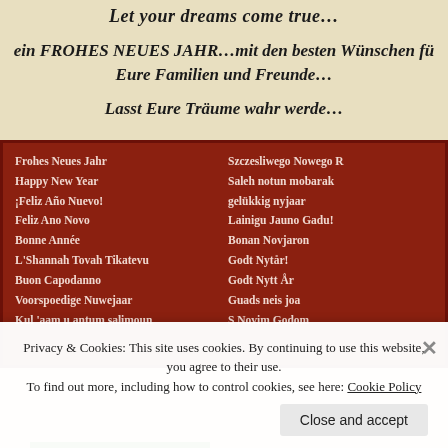Let your dreams come true…
ein FROHES NEUES JAHR…mit den besten Wünschen für Eure Familien und Freunde…
Lasst Eure Träume wahr werde…
[Figure (other): Red textile/card with New Year greetings in multiple languages including: Frohes Neues Jahr, Happy New Year, ¡Feliz Año Nuevo!, Feliz Ano Novo, Bonne Année, L'Shannah Tovah Tikatevu, Buon Capodanno, Voorspoedige Nuwejaar, Kul'aam u antum salimoun, Szczesliwego Nowego R[oku], Saleh notun mobarak, gelükkig nyjaar, Lainigu Jauno Gadu!, Bonan Novj[ar]on, Godt Nytår!, Godt Nytt År, Guads neis joa, S Novim Godom]
Privacy & Cookies: This site uses cookies. By continuing to use this website, you agree to their use. To find out more, including how to control cookies, see here: Cookie Policy
Close and accept